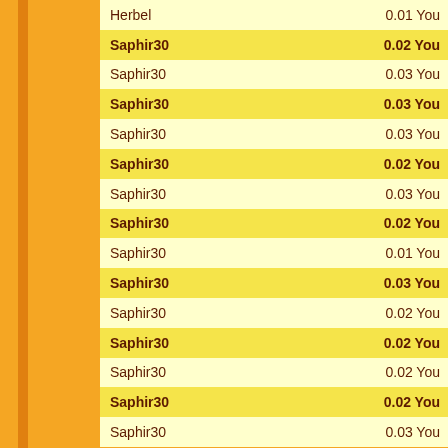| Name | Value |
| --- | --- |
| Herbel | 0.01 You |
| Saphir30 | 0.02 You |
| Saphir30 | 0.03 You |
| Saphir30 | 0.03 You |
| Saphir30 | 0.03 You |
| Saphir30 | 0.02 You |
| Saphir30 | 0.03 You |
| Saphir30 | 0.02 You |
| Saphir30 | 0.01 You |
| Saphir30 | 0.03 You |
| Saphir30 | 0.02 You |
| Saphir30 | 0.02 You |
| Saphir30 | 0.02 You |
| Saphir30 | 0.02 You |
| Saphir30 | 0.03 You |